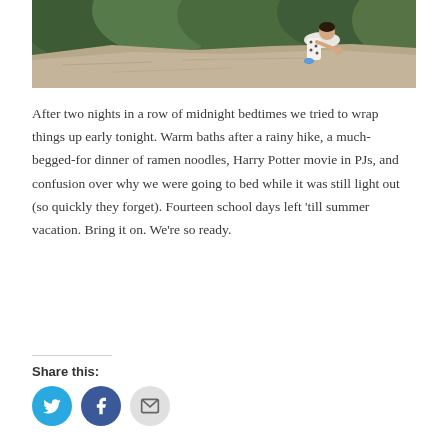[Figure (photo): Child climbing on a large rock outdoors in a forest, wearing patterned pants and sneakers, with green trees in the background]
After two nights in a row of midnight bedtimes we tried to wrap things up early tonight. Warm baths after a rainy hike, a much-begged-for dinner of ramen noodles, Harry Potter movie in PJs, and confusion over why we were going to bed while it was still light out (so quickly they forget). Fourteen school days left 'till summer vacation. Bring it on. We're so ready.
Share this: